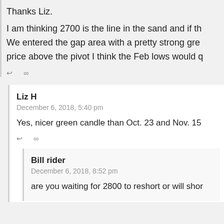Thanks Liz.
I am thinking 2700 is the line in the sand and if th... We entered the gap area with a pretty strong gre... price above the pivot I think the Feb lows would q...
← ∞
Liz H
December 6, 2018, 5:40 pm
Yes, nicer green candle than Oct. 23 and Nov. 15...
← ∞
Bill rider
December 6, 2018, 8:52 pm
are you waiting for 2800 to reshort or will shor...